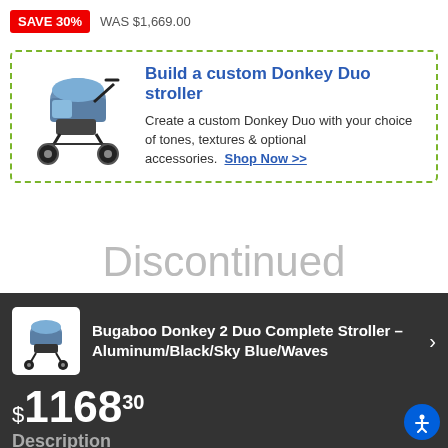SAVE 30%  WAS $1,669.00
[Figure (infographic): Promotional box with dashed green border showing a Bugaboo Donkey Duo stroller image on the left and text on the right: 'Build a custom Donkey Duo stroller. Create a custom Donkey Duo with your choice of tones, textures & optional accessories. Shop Now >>']
Discontinued
Bugaboo Donkey 2 Duo Complete Stroller – Aluminum/Black/Sky Blue/Waves
$1168.30
Description